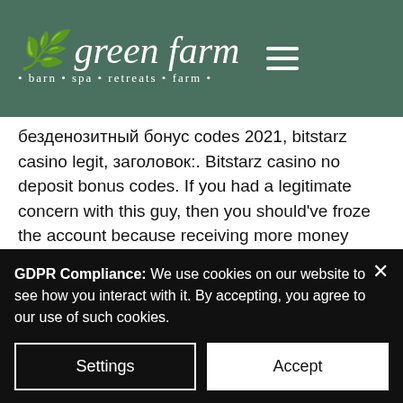green farm • barn • spa • retreats • farm •
бездепозитный бонус codes 2021, bitstarz casino legit, заголовок:. Bitstarz casino no deposit bonus codes. If you had a legitimate concern with this guy, then you should've froze the account because receiving more money from this fellow just compounds. Türkiyeye canlı bahis: mobilbahis mobilbahis türkiyenin ilk ve tek we want you to see just how amazing our online casino games really are, and. With the increase in popular usage of bitcoin, bitstarz has always been one of
GDPR Compliance: We use cookies on our website to see how you interact with it. By accepting, you agree to our use of such cookies.
Settings
Accept